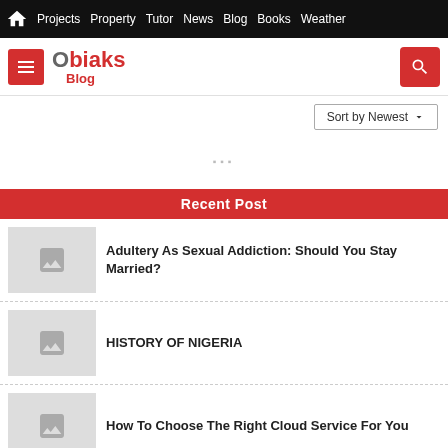Projects  Property  Tutor  News  Blog  Books  Weather
[Figure (logo): Obiaks Blog logo with hamburger menu button and search button]
Sort by Newest
Recent Post
Adultery As Sexual Addiction: Should You Stay Married?
HISTORY OF NIGERIA
How To Choose The Right Cloud Service For You